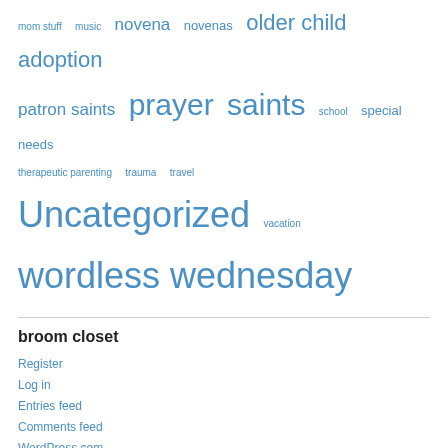mom stuff  music  novena  novenas  older child adoption  patron saints  prayer  saints  school  special needs  therapeutic parenting  trauma  travel  Uncategorized  vacation  wordless wednesday
broom closet
Register
Log in
Entries feed
Comments feed
WordPress.com
Mom rules: no copying, please!
[Figure (logo): Creative Commons CC BY NC ND license badge]